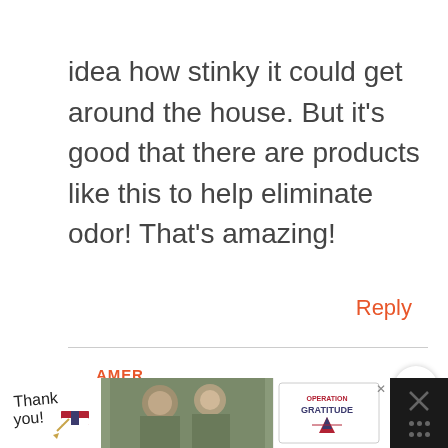idea how stinky it could get around the house. But it's good that there are products like this to help eliminate odor! That's amazing!
Reply
AMER
MARCH 1, 2016 AT 7:57 PM
[Figure (screenshot): Advertisement banner at bottom: Thank you message with Operation Gratitude logo and military imagery]